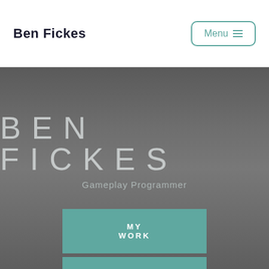Ben Fickes
BEN FICKES
Gameplay Programmer
MY WORK